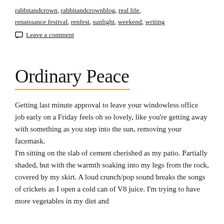rabbitandcrown, rabbitandcrownblog, real life, renaissance festival, renfest, sunlight, weekend, writing
Leave a comment
Ordinary Peace
Getting last minute approval to leave your windowless office job early on a Friday feels oh so lovely, like you're getting away with something as you step into the sun, removing your facemask.
I'm sitting on the slab of cement cherished as my patio. Partially shaded, but with the warmth soaking into my legs from the rock, covered by my skirt. A loud crunch/pop sound breaks the songs of crickets as I open a cold can of V8 juice. I'm trying to have more vegetables in my diet and